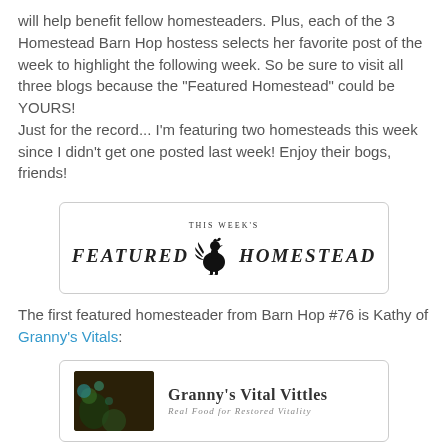will help benefit fellow homesteaders. Plus, each of the 3 Homestead Barn Hop hostess selects her favorite post of the week to highlight the following week. So be sure to visit all three blogs because the "Featured Homestead" could be YOURS!
Just for the record... I'm featuring two homesteads this week since I didn't get one posted last week! Enjoy their bogs, friends!
[Figure (logo): This Week's Featured Homestead banner with a rooster silhouette, serif bold italic text reading FEATURED HOMESTEAD]
The first featured homesteader from Barn Hop #76 is Kathy of Granny's Vitals:
[Figure (logo): Granny's Vital Vittles logo: dark background image on left, text 'Granny's Vital Vittles' with subtitle 'Real Food for Restored Vitality']
[Figure (other): Partial image box at bottom left, content not visible]